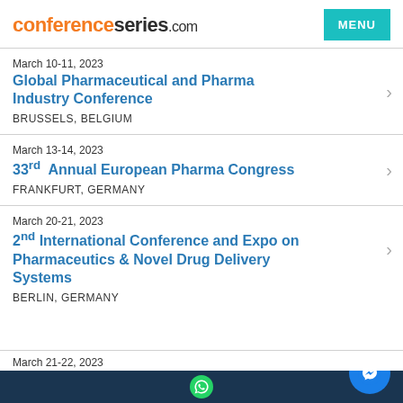conferenceseries.com
March 10-11, 2023
Global Pharmaceutical and Pharma Industry Conference
BRUSSELS, BELGIUM
March 13-14, 2023
33rd Annual European Pharma Congress
FRANKFURT, GERMANY
March 20-21, 2023
2nd International Conference and Expo on Pharmaceutics & Novel Drug Delivery Systems
BERLIN, GERMANY
March 21-22, 2023